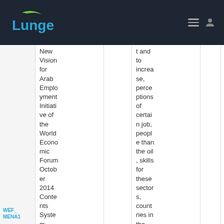[Figure (logo): Lunge logo - white text with green swoosh accent on dark background]
New Vision for Arab Employment Initiative of the World Economic Forum October 2014 Contents System Introduction the
t and to increase, perceptions of certain job, people than the oil, skills for these sectors, countries in the gulf, stakeholder
WEF_MENA1